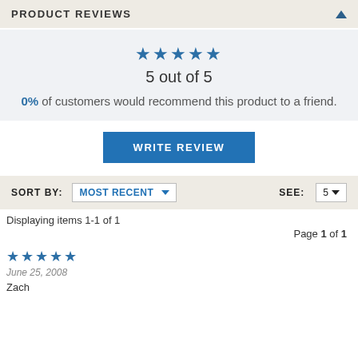PRODUCT REVIEWS
★★★★★
5 out of 5
0% of customers would recommend this product to a friend.
WRITE REVIEW
SORT BY: MOST RECENT   SEE: 5
Displaying items 1-1 of 1
Page 1 of 1
★★★★★
June 25, 2008
Zach